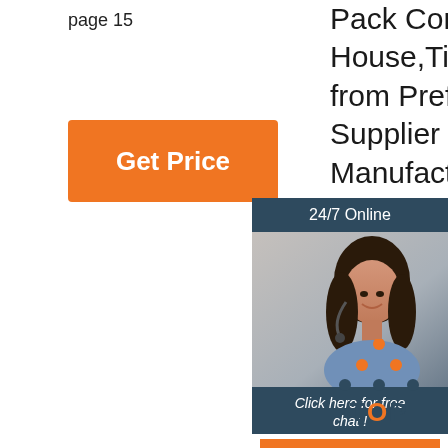page 15
Pack Container House,Tiny House from Prefab Houses Supplier or Manufacturer-Hebei Weizhengheng Modular House Technology Co.,Jiangyin Bosj Science And Technology COJiangyin Bosj Science And Technology CO.LTD
[Figure (other): Orange 'Get Price' button]
[Figure (other): 24/7 Online chat widget with woman wearing headset, 'Click here for free chat!' text, and orange QUOTATION button]
[Figure (other): Orange and dark blue TOP icon with dots arranged in triangle above the word TOP]